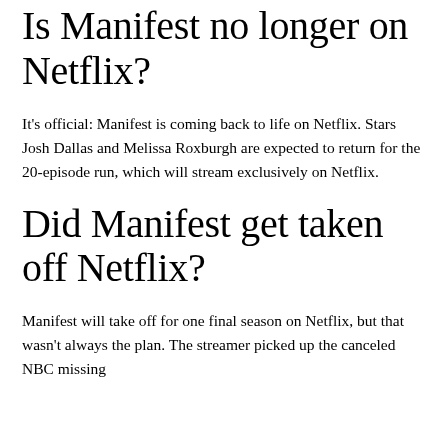Is Manifest no longer on Netflix?
It's official: Manifest is coming back to life on Netflix. Stars Josh Dallas and Melissa Roxburgh are expected to return for the 20-episode run, which will stream exclusively on Netflix.
Did Manifest get taken off Netflix?
Manifest will take off for one final season on Netflix, but that wasn't always the plan. The streamer picked up the canceled NBC missing